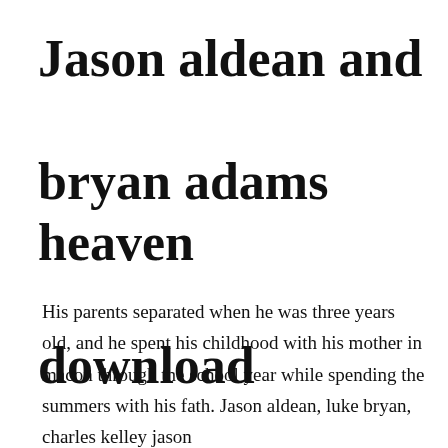Jason aldean and bryan adams heaven download
His parents separated when he was three years old, and he spent his childhood with his mother in macon through the school year while spending the summers with his fath. Jason aldean, luke bryan, charles kelley jason